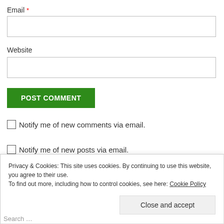Email *
Website
POST COMMENT
Notify me of new comments via email.
Notify me of new posts via email.
Privacy & Cookies: This site uses cookies. By continuing to use this website, you agree to their use. To find out more, including how to control cookies, see here: Cookie Policy
Close and accept
Search ...